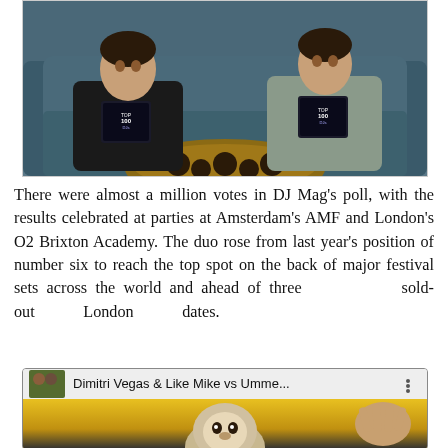[Figure (photo): Two men sitting on a teal/blue sofa holding Top 100 DJs award plaques, with a round wooden table in front of them.]
There were almost a million votes in DJ Mag's poll, with the results celebrated at parties at Amsterdam's AMF and London's O2 Brixton Academy. The duo rose from last year's position of number six to reach the top spot on the back of major festival sets across the world and ahead of three sold-out London dates.
[Figure (screenshot): YouTube video thumbnail showing 'Dimitri Vegas & Like Mike vs Umme...' with a monkey in the foreground against a yellow background.]